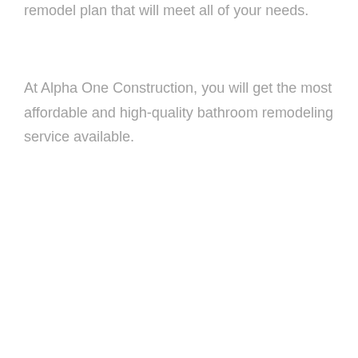remodel plan that will meet all of your needs.
At Alpha One Construction, you will get the most affordable and high-quality bathroom remodeling service available.